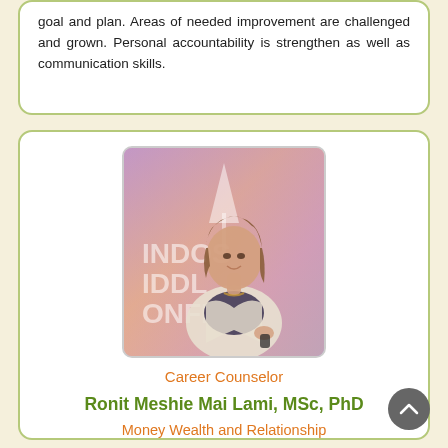goal and plan. Areas of needed improvement are challenged and grown. Personal accountability is strengthen as well as communication skills.
[Figure (photo): Woman presenting at a conference, wearing a white blazer, standing in front of a backdrop that reads INDOS IDDL ONFE (partial text visible)]
Career Counselor
Ronit Meshie Mai Lami, MSc, PhD
Money Wealth and Relationship